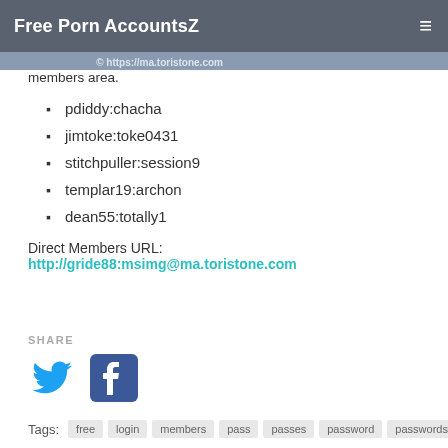Free Porn AccountsZ
members area.
pdiddy:chacha
jimtoke:toke0431
stitchpuller:session9
templar19:archon
dean55:totally1
Direct Members URL: http://gride88:msimg@ma.toristone.com
SHARE
Tags: free login members pass passes password passwords